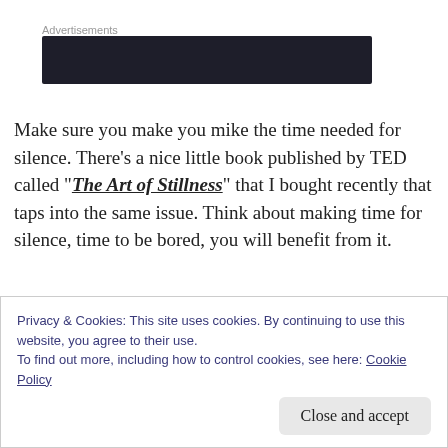[Figure (other): Advertisements label with a dark banner/ad block below it]
Make sure you make you mike the time needed for silence. There’s a nice little book published by TED called “The Art of Stillness” that I bought recently that taps into the same issue. Think about making time for silence, time to be bored, you will benefit from it.
Privacy & Cookies: This site uses cookies. By continuing to use this website, you agree to their use. To find out more, including how to control cookies, see here: Cookie Policy
Close and accept